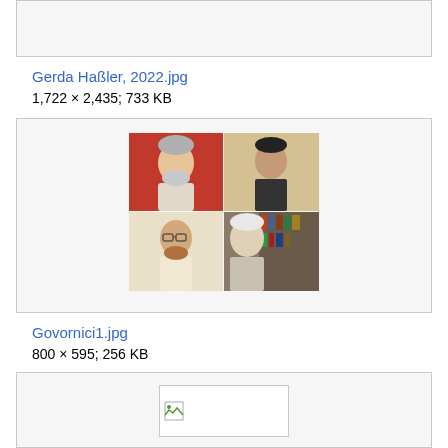[Figure (photo): Empty grey box at top (partial, cropped from previous content)]
Gerda Haßler, 2022.jpg
1,722 × 2,435; 733 KB
[Figure (photo): Collage of four portrait photos of men arranged in 2x2 grid]
Govornici1.jpg
800 × 595; 256 KB
[Figure (photo): Broken image placeholder icon with white background]